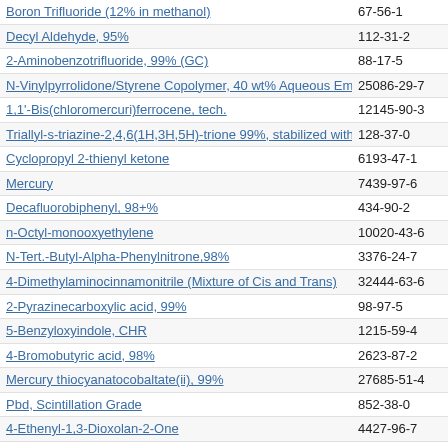| Chemical Name | CAS Number |
| --- | --- |
| Boron Trifluoride (12% in methanol) | 67-56-1 |
| Decyl Aldehyde, 95% | 112-31-2 |
| 2-Aminobenzotrifluoride, 99% (GC) | 88-17-5 |
| N-Vinylpyrrolidone/Styrene Copolymer, 40 wt% Aqueous Emulsion | 25086-29-7 |
| 1,1'-Bis(chloromercuri)ferrocene, tech. | 12145-90-3 |
| Triallyl-s-triazine-2,4,6(1H,3H,5H)-trione 99%, stabilized with 100 | 128-37-0 |
| Cyclopropyl 2-thienyl ketone | 6193-47-1 |
| Mercury | 7439-97-6 |
| Decafluorobiphenyl, 98+% | 434-90-2 |
| n-Octyl-monooxyethylene | 10020-43-6 |
| N-Tert.-Butyl-Alpha-Phenylnitrone,98% | 3376-24-7 |
| 4-Dimethylaminocinnamonitrile (Mixture of Cis and Trans) | 32444-63-6 |
| 2-Pyrazinecarboxylic acid, 99% | 98-97-5 |
| 5-Benzyloxyindole, CHR | 1215-59-4 |
| 4-Bromobutyric acid, 98% | 2623-87-2 |
| Mercury thiocyanatocobaltate(ii), 99% | 27685-51-4 |
| Pbd, Scintillation Grade | 852-38-0 |
| 4-Ethenyl-1,3-Dioxolan-2-One | 4427-96-7 |
| 2,2,6-Trimethylcyclohexanone, 98.5+% (GC) | 2408-37-9 |
| DL-4-Chlorophenylalanine ethyl ester hydrochloride | 52031-05-7 |
| p-Methoxyphenylacetone, 98+% | 122-84-9 |
| 1-Hexen-3-ol, 98% | 4798-44-1 |
| 4-Fluorothiophenol, 97% | 371-42-6 |
| 3',5'-Diacetylthymidine, 99+% | 6979-97-1 |
| Oxanilide, 99% (UV-Vis) | 620-81-5 |